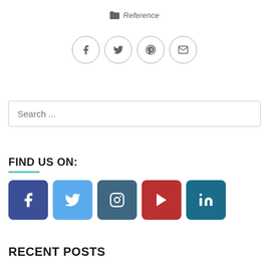Reference
[Figure (infographic): Four circular social share buttons: Facebook (f), Twitter (bird), Pinterest (p), Email (envelope)]
Search ...
FIND US ON:
[Figure (infographic): Five colored rounded-square social media buttons: Facebook (dark blue), Twitter (light blue), Instagram (teal/dark blue), YouTube (red), LinkedIn (dark teal)]
RECENT POSTS